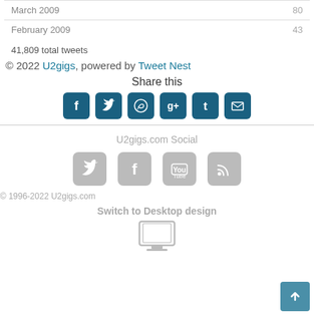| Month | Count |
| --- | --- |
| March 2009 | 80 |
| February 2009 | 43 |
41,809 total tweets
© 2022 U2gigs, powered by Tweet Nest
Share this
[Figure (infographic): Share icons: Facebook, Twitter, WhatsApp, Google+, Tumblr, Email]
U2gigs.com Social
[Figure (infographic): Social media icons: Twitter, Facebook, YouTube, RSS]
© 1996-2022 U2gigs.com
Switch to Desktop design
[Figure (illustration): Monitor/desktop computer icon]